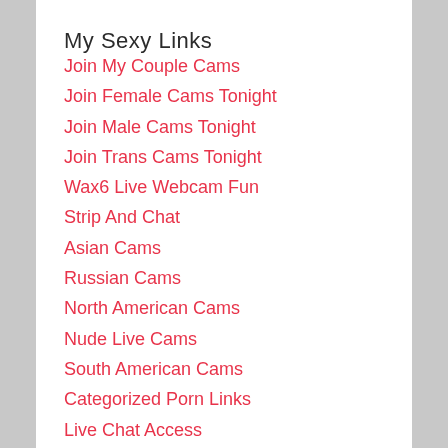My Sexy Links
Join My Couple Cams
Join Female Cams Tonight
Join Male Cams Tonight
Join Trans Cams Tonight
Wax6 Live Webcam Fun
Strip And Chat
Asian Cams
Russian Cams
North American Cams
Nude Live Cams
South American Cams
Categorized Porn Links
Live Chat Access